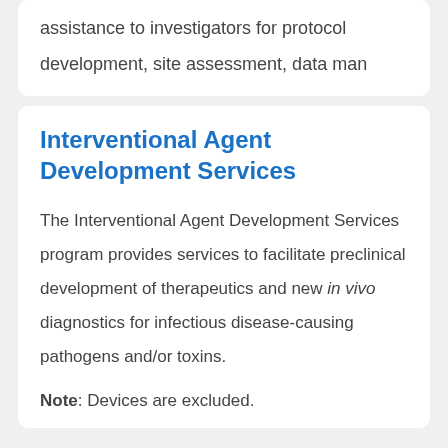assistance to investigators for protocol development, site assessment, data man
Interventional Agent Development Services
The Interventional Agent Development Services program provides services to facilitate preclinical development of therapeutics and new in vivo diagnostics for infectious disease-causing pathogens and/or toxins.
Note: Devices are excluded.